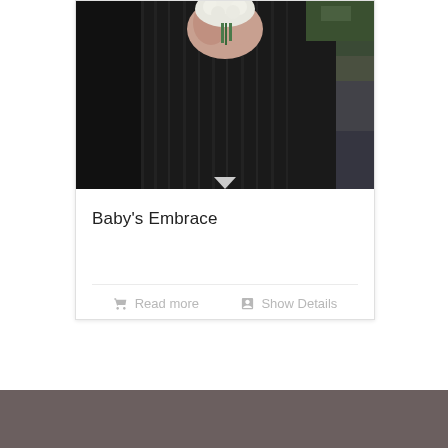[Figure (photo): A person in a black dress holding a white floral bouquet, cropped to show torso and hands against an outdoor background.]
Baby's Embrace
Read more
Show Details